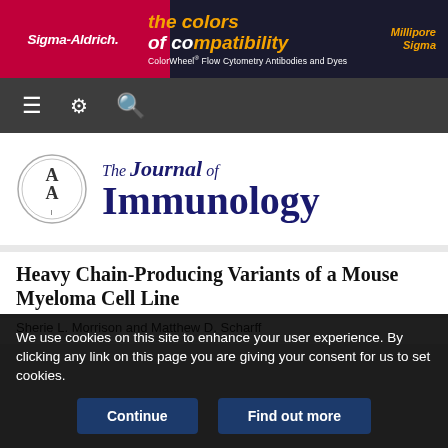[Figure (illustration): Sigma-Aldrich advertisement banner: 'The colors of compatibility' ColorWheel Flow Cytometry Antibodies and Dyes, with Millipore Sigma logo]
[Figure (illustration): Dark navigation bar with hamburger menu, settings gear, and search icons]
[Figure (logo): The Journal of Immunology logo with AAI seal]
Heavy Chain-Producing Variants of a Mouse Myeloma Cell Line
Sherie L. Morrison and Matthew D. Scharff
We use cookies on this site to enhance your user experience. By clicking any link on this page you are giving your consent for us to set cookies.